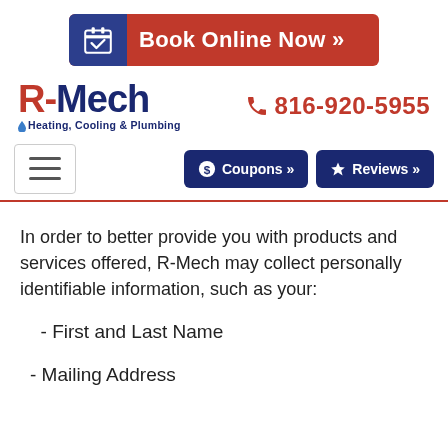[Figure (logo): Book Online Now button with calendar icon, dark blue left section and red right section, white bold text]
[Figure (logo): R-Mech Heating, Cooling & Plumbing logo with red R and water drop, dark blue Mech text]
816-920-5955
[Figure (other): Hamburger menu icon in bordered box, Coupons button and Reviews button in dark navy]
In order to better provide you with products and services offered, R-Mech may collect personally identifiable information, such as your:
- First and Last Name
- Mailing Address